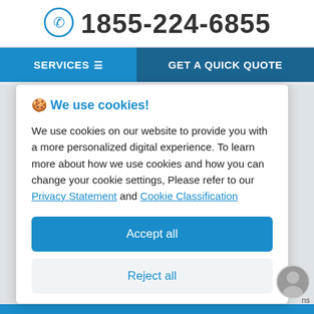1855-224-6855
SERVICES  GET A QUICK QUOTE
🍪 We use cookies!
We use cookies on our website to provide you with a more personalized digital experience. To learn more about how we use cookies and how you can change your cookie settings, Please refer to our Privacy Statement and Cookie Classification
Accept all
Reject all